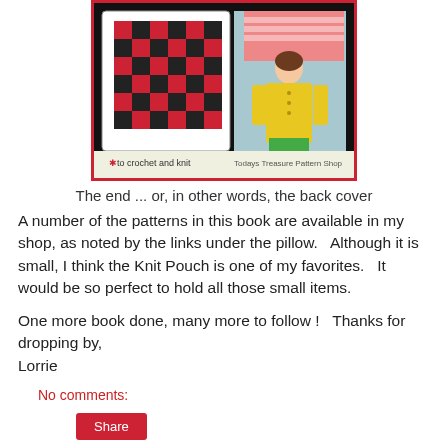[Figure (photo): Book cover image showing a checkered knit pillow on the left and a girl wearing a yellow knitted cardigan on the right, with text 'to crochet and knit' and 'Todays Treasure Pattern Shop' at the bottom, framed by a red border.]
The end ... or, in other words, the back cover
A number of the patterns in this book are available in my shop, as noted by the links under the pillow.   Although it is small, I think the Knit Pouch is one of my favorites.   It would be so perfect to hold all those small items.
One more book done, many more to follow !   Thanks for dropping by,
Lorrie
No comments:
Share